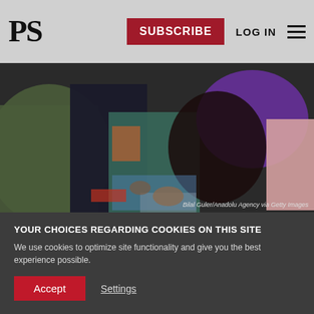PS | SUBSCRIBE | LOG IN
[Figure (photo): Group of people gathered together, partially obscured, in a dark setting. Photo credit: Bilal Guler/Anadolu Agency via Getty Images]
Bilal Guler/Anadolu Agency via Getty Images
YOUR CHOICES REGARDING COOKIES ON THIS SITE
We use cookies to optimize site functionality and give you the best experience possible.
Accept
Settings